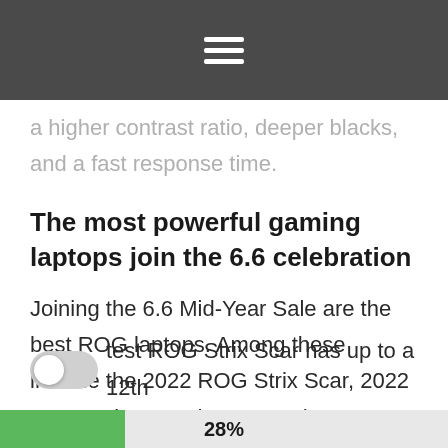≡
a higher contrast ratio, deeper blacks, and a fast response time.
The most powerful gaming laptops join the 6.6 celebration
Joining the 6.6 Mid-Year Sale are the best ROG laptops. Among these include the 2022 ROG Strix Scar, 2022 ROG Strix G, and ROG Zephrus G14.
test ROG Strix Scar has up to a 12th
28%